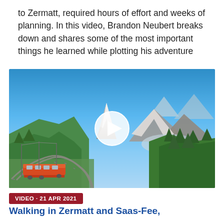to Zermatt, required hours of effort and weeks of planning. In this video, Brandon Neubert breaks down and shares some of the most important things he learned while plotting his adventure
[Figure (photo): Photo of a red mountain train on a curved track with the Matterhorn peak visible in the background, surrounded by green alpine forest and snow-capped mountains under a blue sky. A white circular play button overlay is centered on the image.]
VIDEO · 21 APR 2021
Walking in Zermatt and Saas-Fee,